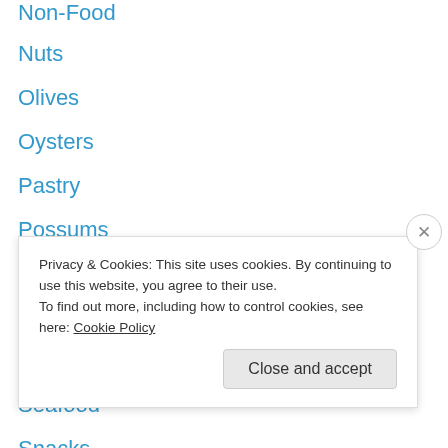Non-Food
Nuts
Olives
Oysters
Pastry
Possums
Preserving
Quick Breads
Restaurant
Seafood
Snacks
Soda
Spelling
street food
Privacy & Cookies: This site uses cookies. By continuing to use this website, you agree to their use.
To find out more, including how to control cookies, see here: Cookie Policy
Close and accept